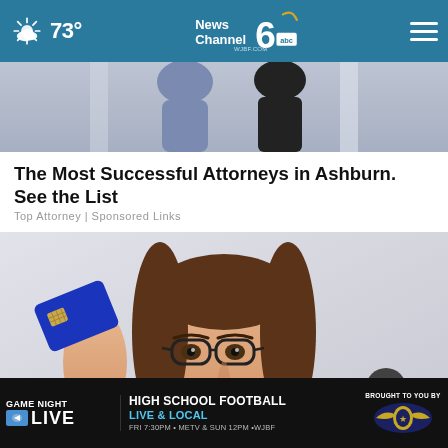73° | News Channel 6 WJBF.COM abc
[Figure (photo): Cropped photo of two people, partially visible, against an architectural background]
The Most Successful Attorneys in Ashburn. See the List
Top Attorney | Sponsored Links
[Figure (photo): Young woman with glasses smiling, holding a blue credit card, pointing at it, wearing a white shirt against a light background]
GAME NIGHT LIVE | HIGH SCHOOL FOOTBALL LIVE & LOCAL | FRI 7:30PM • METV & SUN 12PM •WJBF | BROUGHT TO YOU BY